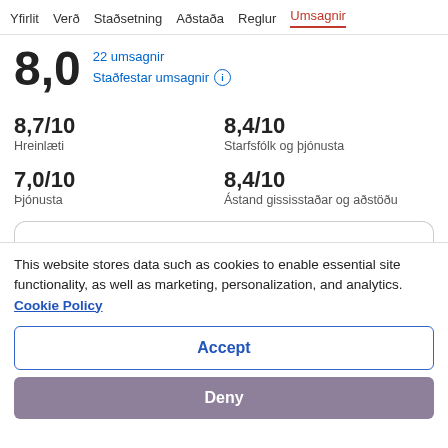Yfirlit  Verð  Staðsetning  Aðstaða  Reglur  Umsagnir
8,0  22 umsagnir  Staðfestar umsagnir
8,7/10
Hreinlæti
8,4/10
Starfsfólk og þjónusta
7,0/10
Þjónusta
8,4/10
Ástand gististaðar og aðstöðu
This website stores data such as cookies to enable essential site functionality, as well as marketing, personalization, and analytics. Cookie Policy
Accept
Deny